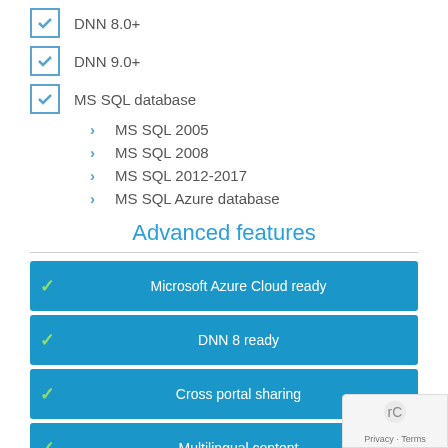DNN 8.0+
DNN 9.0+
MS SQL database
MS SQL 2005
MS SQL 2008
MS SQL 2012-2017
MS SQL Azure database
Advanced features
Microsoft Azure Cloud ready
DNN 8 ready
Cross portal sharing
Multilingual content
Integration with DNN 6.2+ Social features (Journal, Social groups...)
Google maps integration
Responsive